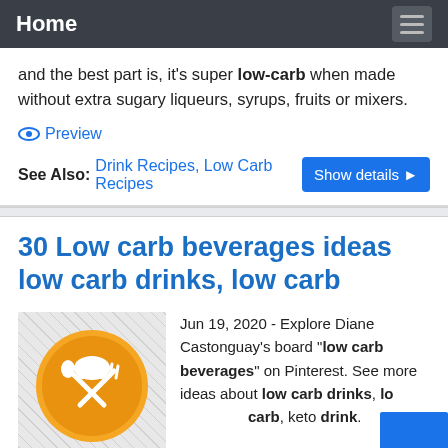Home
and the best part is, it's super low-carb when made without extra sugary liqueurs, syrups, fruits or mixers.
Preview
See Also: Drink Recipes, Low Carb Recipes  Show details ▶
30 Low carb beverages ideas low carb drinks, low carb
[Figure (illustration): Circular orange icon with white chef hat, spoon, and fork crossed]
Jun 19, 2020 - Explore Diane Castonguay's board "low carb beverages" on Pinterest. See more ideas about low carb drinks, low carb, keto drink.